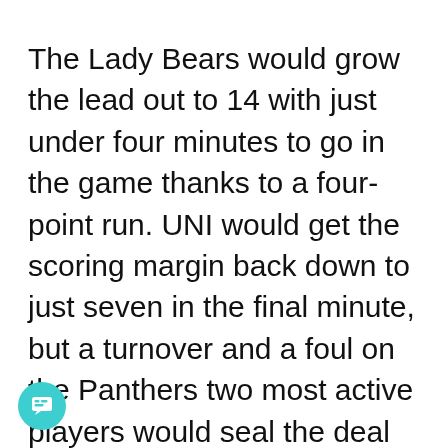The Lady Bears would grow the lead out to 14 with just under four minutes to go in the game thanks to a four-point run. UNI would get the scoring margin back down to just seven in the final minute, but a turnover and a foul on the Panthers two most active players would seal the deal for Missouri State as UNI lost their second in a row.